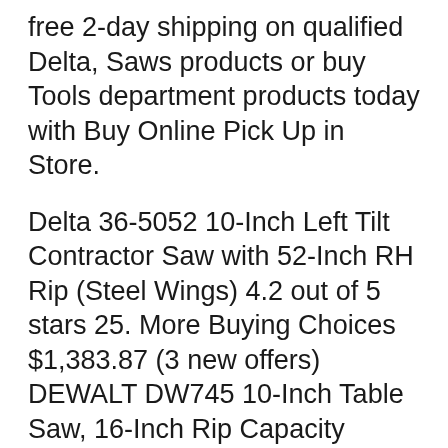free 2-day shipping on qualified Delta, Saws products or buy Tools department products today with Buy Online Pick Up in Store.
Delta 36-5052 10-Inch Left Tilt Contractor Saw with 52-Inch RH Rip (Steel Wings) 4.2 out of 5 stars 25. More Buying Choices $1,383.87 (3 new offers) DEWALT DW745 10-Inch Table Saw, 16-Inch Rip Capacity (Discontinued) 4.7 out of 5 stars 1,278. $369.00 $ 369. 00. Get it as soon as Wed, Feb 12. FREE Shipping by Amazon. Delta Power Tools 36-5100 Delta 10-Inch Left Tilt Table Saw with 30-Inch RH EDIT: This review was edited to add a link to a